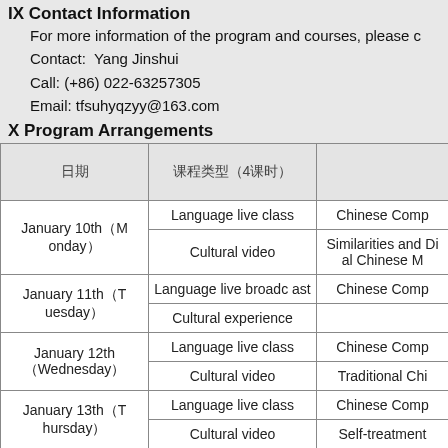IX Contact Information
For more information of the program and courses, please contact:
Contact:  Yang Jinshui
Call: (+86) 022-63257305
Email: tfsuhyqzyy@163.com
X Program Arrangements
| 日期 | 课程类型（4课时） |  |
| --- | --- | --- |
| January 10th（Monday） | Language live class | Chinese Comp... |
| January 10th（Monday） | Cultural video | Similarities and Di... al Chinese M... |
| January 11th（Tuesday） | Language live broadcast | Chinese Comp... |
| January 11th（Tuesday） | Cultural experience |  |
| January 12th（Wednesday） | Language live class | Chinese Comp... |
| January 12th（Wednesday） | Cultural video | Traditional Chi... |
| January 13th（Thursday） | Language live class | Chinese Comp... |
| January 13th（Thursday） | Cultural video | Self-treatment |